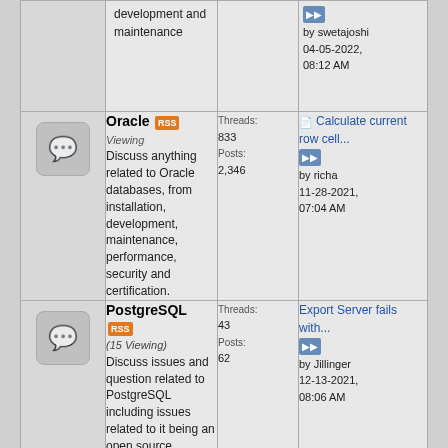| Icon | Forum | Stats | Last Post |
| --- | --- | --- | --- |
| [icon] | development and maintenance | by swetajoshi 04-05-2022, 08:12 AM |  |  |
| [icon] | Oracle [RSS] Discuss anything related to Oracle databases, from installation, development, maintenance, performance, security and certification. | Threads: 833 Posts: 2,346 | Calculate current row cell... by richa 11-28-2021, 07:04 AM |
| [icon] | PostgreSQL [RSS] (15 Viewing) Discuss issues and question related to PostgreSQL including issues related to it being an open source database system | Threads: 43 Posts: 62 | Export Server fails with... by Jillinger 12-13-2021, 08:06 AM |
| [icon] | Sybase [RSS] (Viewing) Discuss Sybase products including Adaptive Server Enterprise, Open Server, Replication Server and SQL... | Threads: 155 Posts: 209 | Compare two tables from... by pvlsmp18 12-14-... |